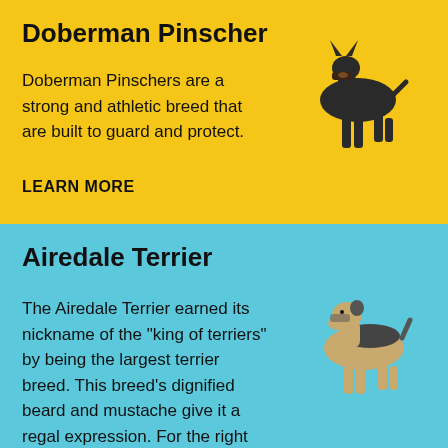Doberman Pinscher
Doberman Pinschers are a strong and athletic breed that are built to guard and protect.
LEARN MORE
[Figure (illustration): Illustration of a Doberman Pinscher dog standing in profile, black and tan coloring]
Airedale Terrier
The Airedale Terrier earned its nickname of the "king of terriers" by being the largest terrier breed. This breed's dignified beard and mustache give it a regal expression. For the right owner
[Figure (illustration): Illustration of an Airedale Terrier dog standing in profile, tan and black saddle coloring]